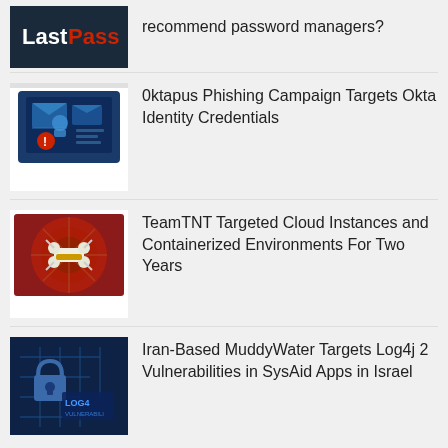[Figure (logo): LastPass logo on dark navy background]
recommend password managers?
[Figure (photo): Phishing/cybersecurity illustration: computer screen with email icons and red warning symbol on blue background]
0ktapus Phishing Campaign Targets Okta Identity Credentials
[Figure (photo): Drone or spider-web target illustration with red background]
TeamTNT Targeted Cloud Instances and Containerized Environments For Two Years
[Figure (photo): Log4j vulnerability themed image with blue circuit board background and LOG4 text]
Iran-Based MuddyWater Targets Log4j 2 Vulnerabilities in SysAid Apps in Israel